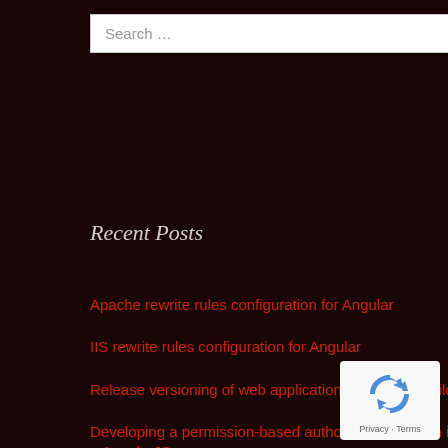Search …
Recent Posts
Apache rewrite rules configuration for Angular
IIS rewrite rules configuration for Angular
Release versioning of web application in Bamboo build
Developing a permission-based authorization system in a AngularJS app
Building large matrices faster with coo_matrix in Python
[Figure (logo): reCAPTCHA badge with blue recycle-style logo icon and Privacy - Terms text]